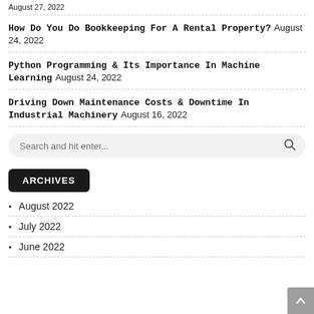August 27, 2022
How Do You Do Bookkeeping For A Rental Property? August 24, 2022
Python Programming & Its Importance In Machine Learning August 24, 2022
Driving Down Maintenance Costs & Downtime In Industrial Machinery August 16, 2022
Search and hit enter...
ARCHIVES
August 2022
July 2022
June 2022